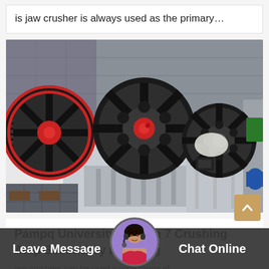is jaw crusher is always used as the primary…
[Figure (photo): Photograph of multiple jaw crusher machines with large black and red flywheels, gray metal bodies, displayed outdoors in a row]
Pampq University Lesson 7 Crushing Amp Secondary Breaking
jaw crushers can be used a wide range of